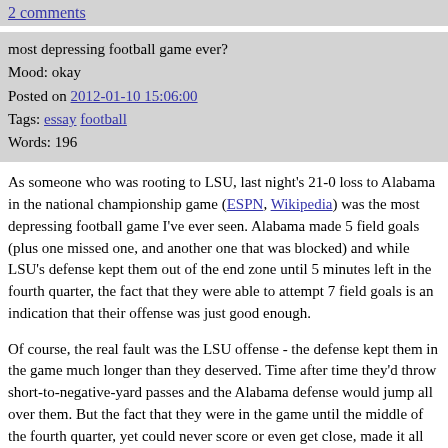2 comments
most depressing football game ever?
Mood: okay
Posted on 2012-01-10 15:06:00
Tags: essay football
Words: 196
As someone who was rooting to LSU, last night's 21-0 loss to Alabama in the national championship game (ESPN, Wikipedia) was the most depressing football game I've ever seen. Alabama made 5 field goals (plus one missed one, and another one that was blocked) and while LSU's defense kept them out of the end zone until 5 minutes left in the fourth quarter, the fact that they were able to attempt 7 field goals is an indication that their offense was just good enough.
Of course, the real fault was the LSU offense - the defense kept them in the game much longer than they deserved. Time after time they'd throw short-to-negative-yard passes and the Alabama defense would jump all over them. But the fact that they were in the game until the middle of the fourth quarter, yet could never score or even get close, made it all the more painful and depressing.